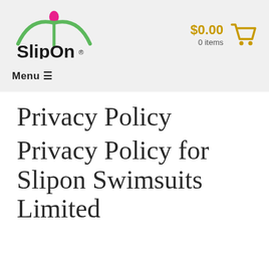SlipOn | $0.00 | 0 items | Menu
Privacy Policy
Privacy Policy for Slipon Swimsuits Limited